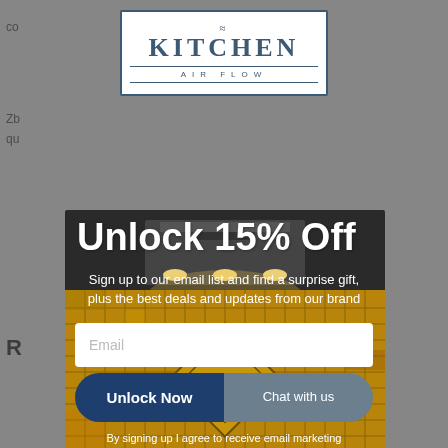[Figure (logo): Kitchen Airflow logo with tilde symbol, company name in serif font with border]
[Figure (photo): Kitchen range hood over golden mosaic tile backsplash with under-cabinet lighting]
Unlock 15% Off
Sign up to our email list and find a surprise gift, plus the best deals and updates from our brand
Email
Unlock Now
Chat with us
By signing up I agree to receive email marketing